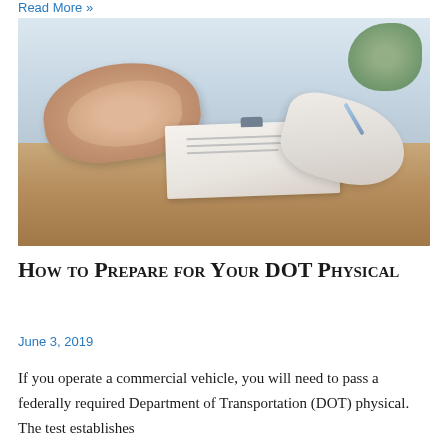Read More »
[Figure (photo): A patient with clasped hands sitting across from a doctor who is writing on a clipboard at a desk]
How to Prepare for Your DOT Physical
June 3, 2019
If you operate a commercial vehicle, you will need to pass a federally required Department of Transportation (DOT) physical. The test establishes